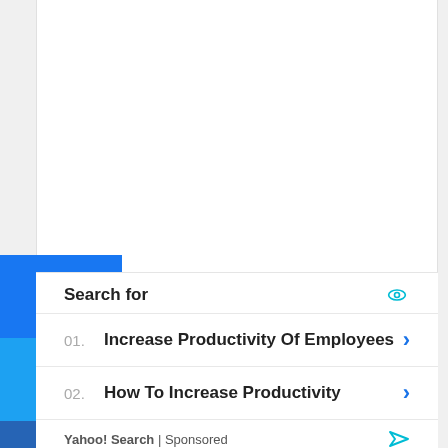[Figure (infographic): Social share buttons sidebar: Facebook (blue), Twitter (light blue), LinkedIn (dark blue), and a '+' more button (light gray)]
Search for
01. Increase Productivity Of Employees
02. How To Increase Productivity
Yahoo! Search | Sponsored